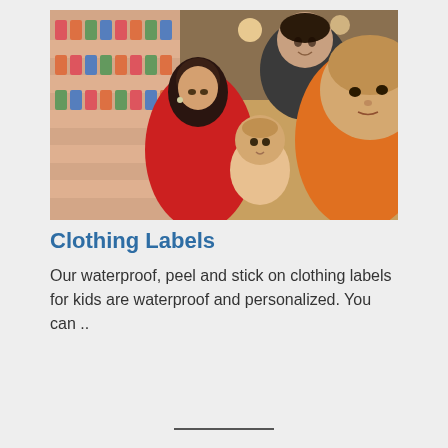[Figure (photo): A family — a woman in a red jacket, a man in a dark jacket, a toddler, and an older child in an orange shirt — shopping in a grocery store aisle lined with colorful packaged products on refrigerated shelves.]
Clothing Labels
Our waterproof, peel and stick on clothing labels for kids are waterproof and personalized. You can ..